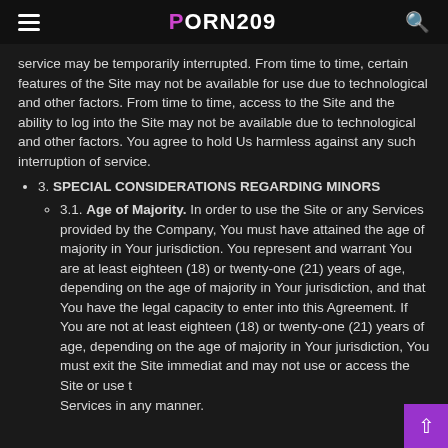PORN209
service may be temporarily interrupted. From time to time, certain features of the Site may not be available for use due to technological and other factors. From time to time, access to the Site and the ability to log into the Site may not be available due to technological and other factors. You agree to hold Us harmless against any such interruption of service.
3. SPECIAL CONSIDERATIONS REGARDING MINORS
3.1. Age of Majority. In order to use the Site or any Services provided by the Company, You must have attained the age of majority in Your jurisdiction. You represent and warrant You are at least eighteen (18) or twenty-one (21) years of age, depending on the age of majority in Your jurisdiction, and that You have the legal capacity to enter into this Agreement. If You are not at least eighteen (18) or twenty-one (21) years of age, depending on the age of majority in Your jurisdiction, You must exit the Site immediately and may not use or access the Site or use the Services in any manner.